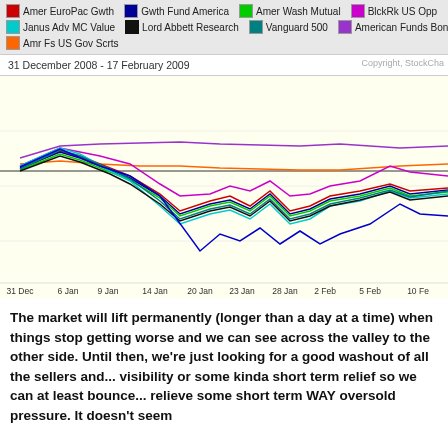[Figure (line-chart): Multi-line performance chart showing Amer EuroPac Gwth, Gwth Fund America, Amer Wash Mutual, BlckRk US Opp, Janus Adv MC Value, Lord Abbett Research, Vanguard 500, American Funds Bond, Amr Fs US Gov Scrts from 31 Dec 2008 to ~10 Feb 2009]
The market will lift permanently (longer than a day at a time) when things stop getting worse and we can see across the valley to the other side. Until then, we're just looking for a good washout of all the sellers and... visibility or some kinda short term relief so we can at least bounce... relieve some short term WAY oversold pressure. It doesn't seem...